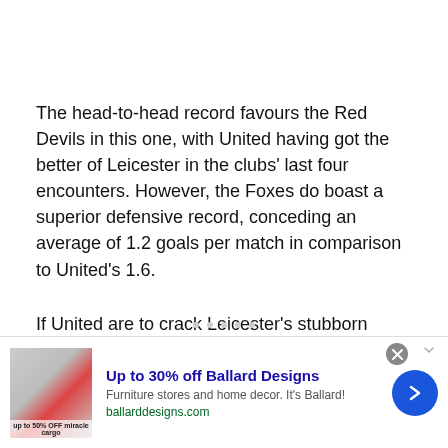The head-to-head record favours the Red Devils in this one, with United having got the better of Leicester in the clubs' last four encounters. However, the Foxes do boast a superior defensive record, conceding an average of 1.2 goals per match in comparison to United's 1.6.
If United are to crack Leicester's stubborn backline, it's highly likely that Bruno Fernandes will play a key role in it. The Portugal international has contributed nine goals and five assists already
[Figure (other): Advertisement banner for Ballard Designs: 'Up to 30% off Ballard Designs. Furniture stores and home decor. It's Ballard! ballarddesigns.com' with furniture image on left and arrow button on right.]